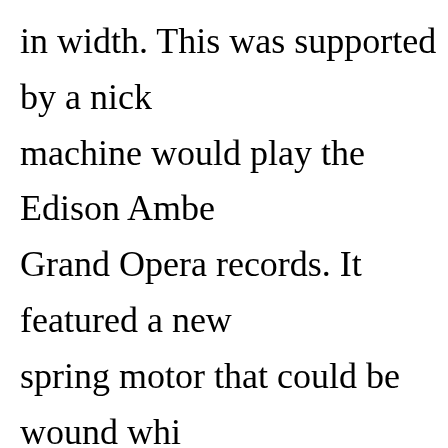in width. This was supported by a nick machine would play the Edison Ambe Grand Opera records. It featured a new spring motor that could be wound whi an improved stop-and-start regulating The Edison "Triumph" Phonograph (F "E, F, and G" was an improved model 1910. This was the last of the series be "Triumph" It featured a new